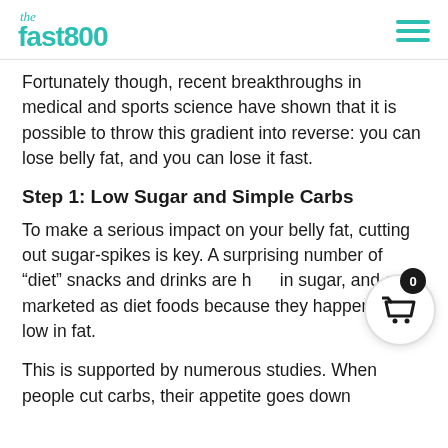the fast800
Fortunately though, recent breakthroughs in medical and sports science have shown that it is possible to throw this gradient into reverse: you can lose belly fat, and you can lose it fast.
Step 1: Low Sugar and Simple Carbs
To make a serious impact on your belly fat, cutting out sugar-spikes is key. A surprising number of “diet” snacks and drinks are high in sugar, and are marketed as diet foods because they happen to be low in fat.
This is supported by numerous studies. When people cut carbs, their appetite goes down and they lose weight...